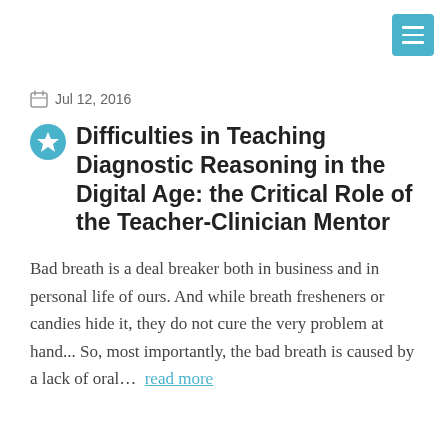Menu button (hamburger icon)
Jul 12, 2016
Difficulties in Teaching Diagnostic Reasoning in the Digital Age: the Critical Role of the Teacher-Clinician Mentor
Bad breath is a deal breaker both in business and in personal life of ours. And while breath fresheners or candies hide it, they do not cure the very problem at hand... So, most importantly, the bad breath is caused by a lack of oral…  read more